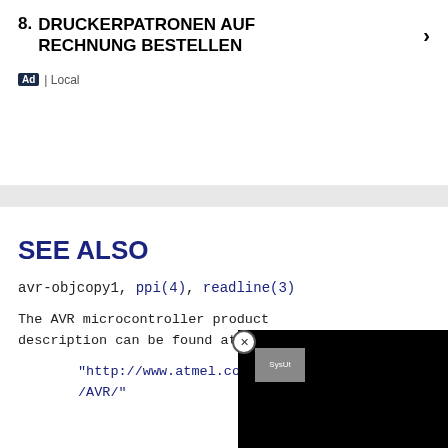8. DRUCKERPATRONEN AUF RECHNUNG BESTELLEN
Ad | Local
SEE ALSO
avr-objcopy1, ppi(4), readline(3)
The AVR microcontroller product description can be found at
"http://www.atmel.com/products/AVR/"
[Figure (screenshot): Black popup overlay with SysUt logo icon and close button (X circle)]